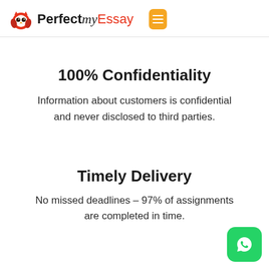Perfect my Essay
100% Confidentiality
Information about customers is confidential and never disclosed to third parties.
Timely Delivery
No missed deadlines – 97% of assignments are completed in time.